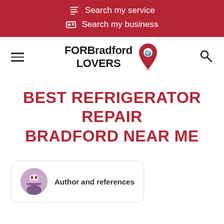Search my service
Search my business
[Figure (logo): FORBradford LOVERS logo with red location pin icon]
BEST REFRIGERATOR REPAIR BRADFORD NEAR ME
Author and references